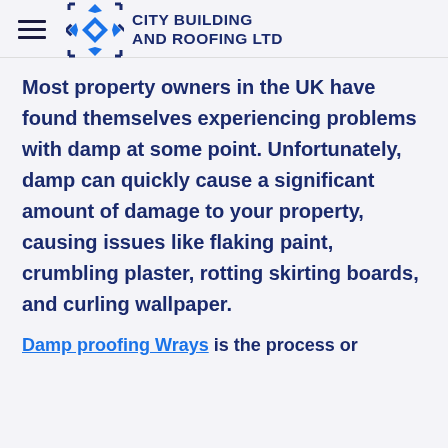CITY BUILDING AND ROOFING LTD
Most property owners in the UK have found themselves experiencing problems with damp at some point. Unfortunately, damp can quickly cause a significant amount of damage to your property, causing issues like flaking paint, crumbling plaster, rotting skirting boards, and curling wallpaper.
Damp proofing Wrays is the process or